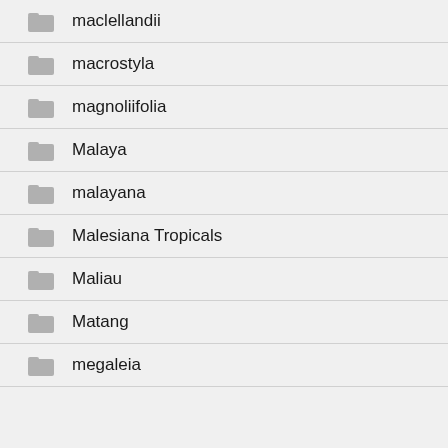maclellandii
macrostyla
magnoliifolia
Malaya
malayana
Malesiana Tropicals
Maliau
Matang
megaleia